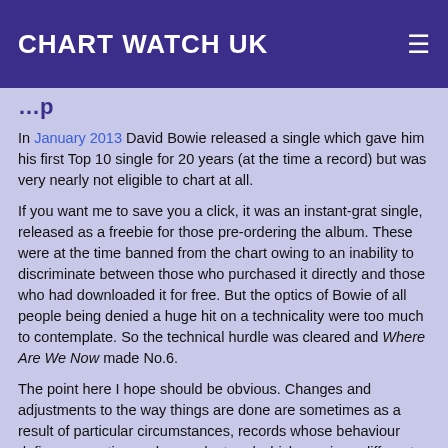CHART WATCH UK
In January 2013 David Bowie released a single which gave him his first Top 10 single for 20 years (at the time a record) but was very nearly not eligible to chart at all.
If you want me to save you a click, it was an instant-grat single, released as a freebie for those pre-ordering the album. These were at the time banned from the chart owing to an inability to discriminate between those who purchased it directly and those who had downloaded it for free. But the optics of Bowie of all people being denied a huge hit on a technicality were too much to contemplate. So the technical hurdle was cleared and Where Are We Now made No.6.
The point here I hope should be obvious. Changes and adjustments to the way things are done are sometimes as a result of particular circumstances, records whose behaviour defies convention and precedent and which require a different stance to be taken.
Which brings us once more to Running Up That Hill by Kate Bush, denied a chance to top the charts last week by dint of being a